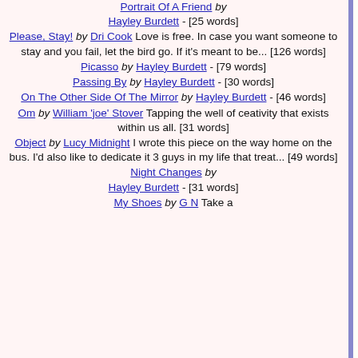Portrait Of A Friend by Hayley Burdett - [25 words]
Please, Stay! by Dri Cook Love is free. In case you want someone to stay and you fail, let the bird go. If it's meant to be... [126 words]
Picasso by Hayley Burdett - [79 words]
Passing By by Hayley Burdett - [30 words]
On The Other Side Of The Mirror by Hayley Burdett - [46 words]
Om by William 'joe' Stover Tapping the well of ceativity that exists within us all. [31 words]
Object by Lucy Midnight I wrote this piece on the way home on the bus. I'd also like to dedicate it 3 guys in my life that treat... [49 words]
Night Changes by Hayley Burdett - [31 words]
My Shoes by G N Take a
Re: Telling Of Nature's Sad Death (Poetry) - [...]
Sangria Dream (Poetry) - [106 words]
Signs Of Morgantown (Poetry) - [61 words]
Silence ... But What Do You Care? (Poetry) -
Spilled Milk (Poetry) This is a poem that came
Spring's Jealousy (Poetry) - [59 words]
Star Gazing On An Electric Night (Poetry) - [9...]
Sun Setting, Memories Rising (Poetry) - [69 w...]
Sunset (Poetry) - [16 words]
The Bus Stop (Short Stories) - [209 words]
Train Tracks (Short Stories) This is about a w... coming back to the place where she's spent it
Undertow (Poetry) - [30 words]
Unreal (Poetry) Another piece inspired by an
Untitled Nostalgia (Poetry) - [22 words]
Visiting Insomnia (Poetry) - [96 words]
West Virginia (Poetry) - [24 words]
Whisky And Soda (Poetry) - [105 words]
Wind Song (Poetry) - [13 words]
Winter Ode To Keeping Summer Love Alive (P...
You - New Love (Poetry) - [46 words]
Princess C...
Hayley
She's a sullen girl